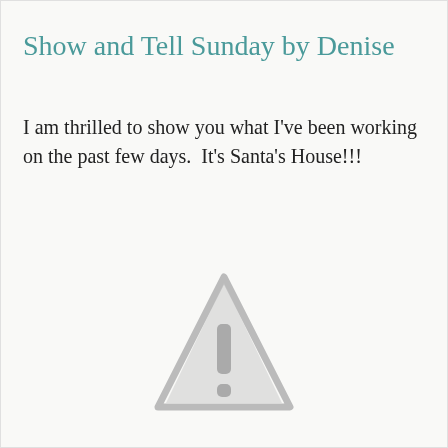Show and Tell Sunday by Denise
I am thrilled to show you what I've been working on the past few days.  It's Santa's House!!!
[Figure (illustration): A grayed-out warning/placeholder triangle icon with an exclamation mark, indicating a missing or broken image.]